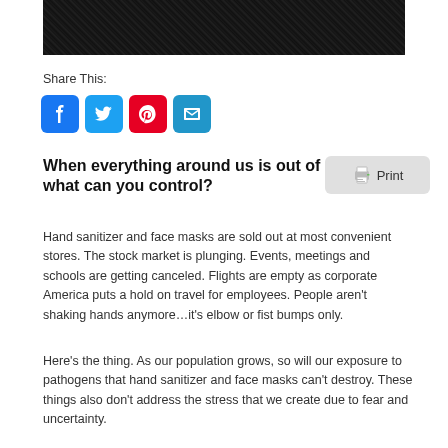[Figure (photo): Dark black and white photo of a person, cropped to show upper body/clothing with a textured dark background]
Share This:
[Figure (infographic): Social sharing icons: Facebook (blue), Twitter (blue), Pinterest (red), Email (blue)]
When everything around us is out of control, what can you control?
Hand sanitizer and face masks are sold out at most convenient stores. The stock market is plunging. Events, meetings and schools are getting canceled. Flights are empty as corporate America puts a hold on travel for employees. People aren't shaking hands anymore…it's elbow or fist bumps only.
Here's the thing. As our population grows, so will our exposure to pathogens that hand sanitizer and face masks can't destroy. These things also don't address the stress that we create due to fear and uncertainty.